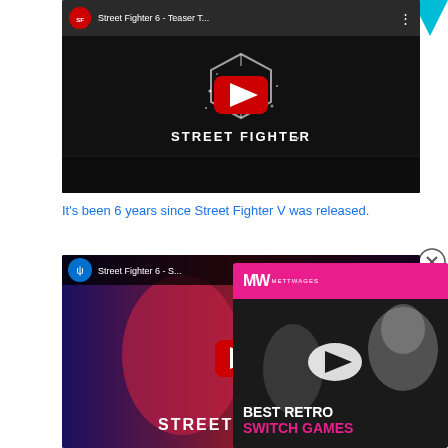[Figure (screenshot): YouTube video embed showing Street Fighter 6 Teaser Trailer with Street Fighter logo and YouTube play button on dark background]
It's been 6 years since Street Fighter V was released.
[Figure (screenshot): YouTube video embed showing Street Fighter 6 gameplay footage with PlayStation logo, Street Fighter characters, and YouTube play button]
[Figure (screenshot): Ad overlay with MWvideo logo on pink bar, play button, showing Best Retro Switch Games text with masked character image]